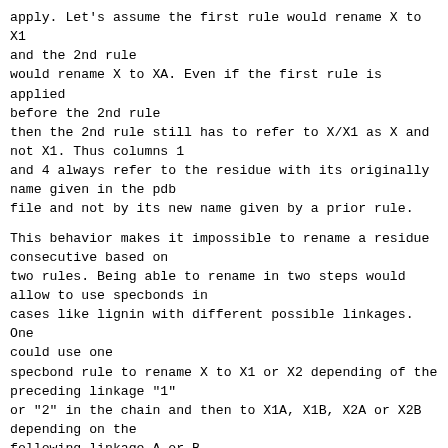apply. Let's assume the first rule would rename X to X1 and the 2nd rule
would rename X to XA. Even if the first rule is applied before the 2nd rule
then the 2nd rule still has to refer to X/X1 as X and not X1. Thus columns 1
and 4 always refer to the residue with its originally name given in the pdb
file and not by its new name given by a prior rule.
This behavior makes it impossible to rename a residue consecutive based on
two rules. Being able to rename in two steps would allow to use specbonds in
cases like lignin with different possible linkages. One could use one
specbond rule to rename X to X1 or X2 depending of the preceding linkage "1"
or "2" in the chain and then to X1A, X1B, X2A or X2B depending on the
following linkage A or B.
Thus we would need to either:
- Change the behavior that specbond uses the prior renamed residue name for
a following rule for columns 1-4, or
- Have additional columns which would allow to specify the name of a residue
based on the prior changed name of an earlier rule